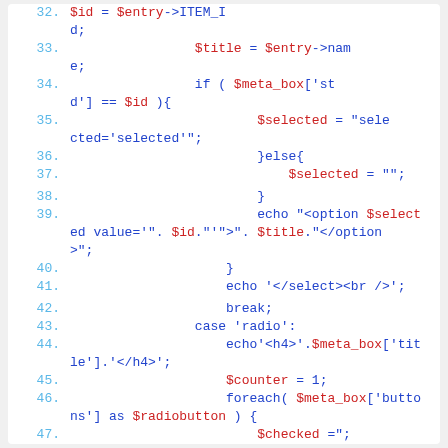[Figure (screenshot): PHP source code listing with line numbers 32-47, showing code for a WordPress meta box with select and radio options. Line numbers in cyan/blue, PHP variables in red, other code in blue/dark blue.]